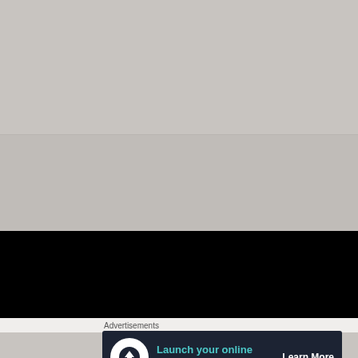[Figure (screenshot): Gray placeholder area (top section) representing an image or video loading state]
[Figure (screenshot): Black section representing a video player or dark content area with a close (X) button in the lower right corner]
Advertisements
[Figure (infographic): Advertisement banner with dark navy background, white circular icon with a tree/upload symbol, teal text reading 'Launch your online course with WordPress', and a white underlined 'Learn More' call-to-action button]